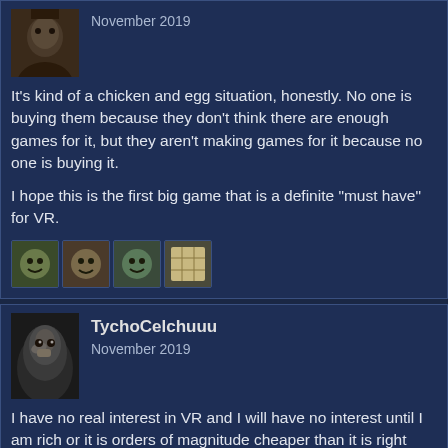[Figure (photo): User avatar - person photo, partially visible at top]
November 2019
It's kind of a chicken and egg situation, honestly. No one is buying them because they don't think there are enough games for it, but they aren't making games for it because no one is buying it.

I hope this is the first big game that is a definite "must have" for VR.
[Figure (photo): Four small reaction emoji/face icons]
[Figure (photo): User avatar - bird photo (TychoCelchuuu)]
TychoCelchuuu
November 2019
I have no real interest in VR and I will have no interest until I am rich or it is orders of magnitude cheaper than it is right now. So my excitement is somewhat muted. I'm looking forward to In the Valley of the Gods more - I'm guessing it's not canceled, just potentially renamed cuz there's a movie or something with the same name coming out soon.